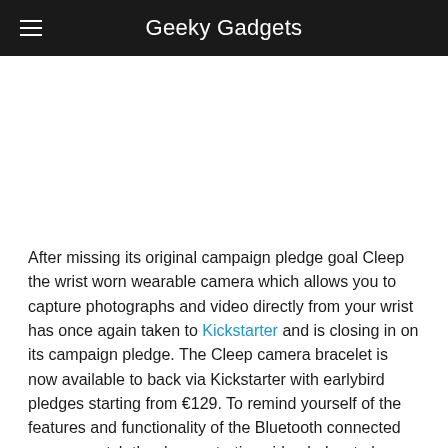Geeky Gadgets
[Figure (photo): Blank white image placeholder area for a product photo]
After missing its original campaign pledge goal Cleep the wrist worn wearable camera which allows you to capture photographs and video directly from your wrist has once again taken to Kickstarter and is closing in on its campaign pledge. The Cleep camera bracelet is now available to back via Kickstarter with earlybird pledges starting from €129. To remind yourself of the features and functionality of the Bluetooth connected camera watch the demonstration video below to learn more about its inspiration, functions and design.